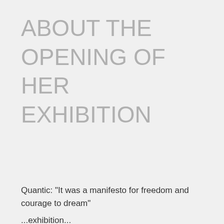ABOUT THE OPENING OF HER EXHIBITION
Quantic: "It was a manifesto for freedom and courage to dream"
...exhibition...